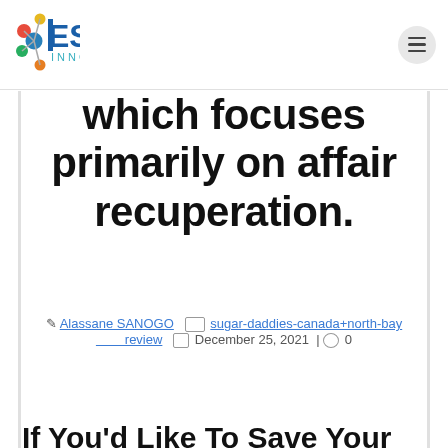EST INNOV (logo) | hamburger menu
which focuses primarily on affair recuperation.
Alassane SANOGO  sugar-daddies-canada+north-bay review  December 25, 2021 | 0
If You'd Like To Save Your Valuable Relationships